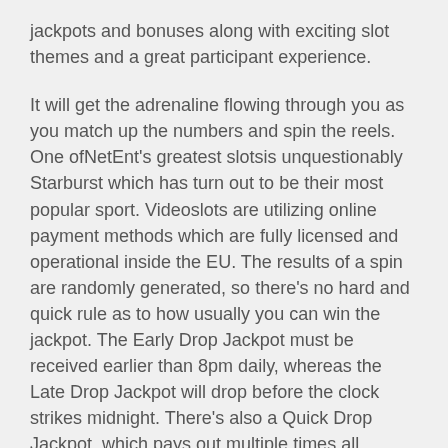jackpots and bonuses along with exciting slot themes and a great participant experience.
It will get the adrenaline flowing through you as you match up the numbers and spin the reels. One ofNetEnt's greatest slotsis unquestionably Starburst which has turn out to be their most popular sport. Videoslots are utilizing online payment methods which are fully licensed and operational inside the EU. The results of a spin are randomly generated, so there's no hard and quick rule as to how usually you can win the jackpot. The Early Drop Jackpot must be received earlier than 8pm daily, whereas the Late Drop Jackpot will drop before the clock strikes midnight. There's also a Quick Drop Jackpot, which pays out multiple times all through the day.
Pragmatic Play transports us to a beautiful desert under a sky of twinkling stars and a full moon in the Wolf Gold slot. Meet a stallion, a puma, an eagle, and a buffalo that may get you 200, 300, 400 or 500 coins